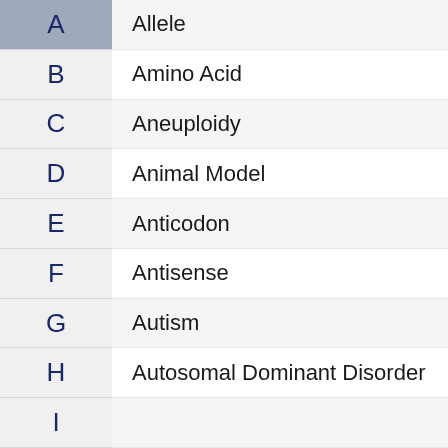A
B
C
D
E
F
G
H
I
Allele
Amino Acid
Aneuploidy
Animal Model
Anticodon
Antisense
Autism
Autosomal Dominant Disorder